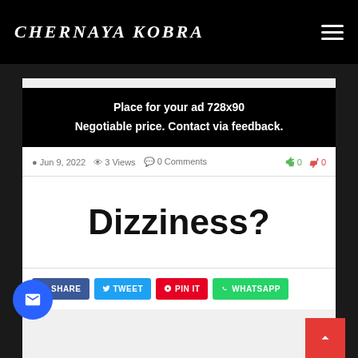CHERNAYA KOBRA
[Figure (infographic): Advertisement banner: Place for your ad 728x90. Negotiable price. Contact via feedback.]
Jun 9, 2022  3 Views  0 Comments  0 0
Dizziness?
SHARE  TWEET  PIN IT  WHATSAPP